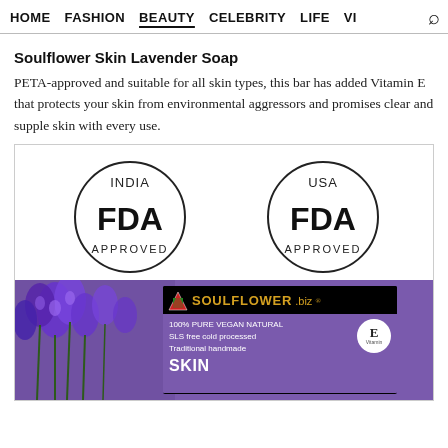HOME   FASHION   BEAUTY   CELEBRITY   LIFE   VI
Soulflower Skin Lavender Soap
PETA-approved and suitable for all skin types, this bar has added Vitamin E that protects your skin from environmental aggressors and promises clear and supple skin with every use.
[Figure (photo): Product image showing two FDA Approved badges (India FDA Approved and USA FDA Approved) above a Soulflower soap box with lavender flowers, black label with Soulflower.biz branding and purple label reading 100% PURE VEGAN NATURAL, SLS free cold processed, Traditional handmade, SKIN]